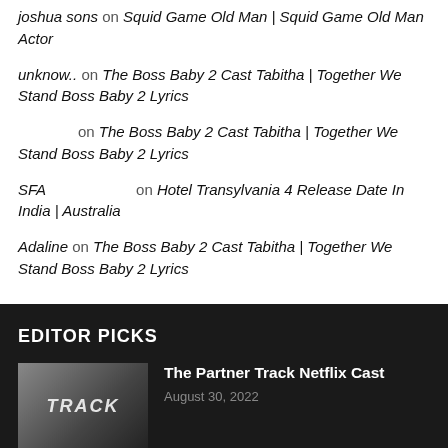joshua sons on Squid Game Old Man | Squid Game Old Man Actor
unknow.. on The Boss Baby 2 Cast Tabitha | Together We Stand Boss Baby 2 Lyrics
on The Boss Baby 2 Cast Tabitha | Together We Stand Boss Baby 2 Lyrics
SFA on Hotel Transylvania 4 Release Date In India | Australia
Adaline on The Boss Baby 2 Cast Tabitha | Together We Stand Boss Baby 2 Lyrics
EDITOR PICKS
The Partner Track Netflix Cast
August 30, 2022